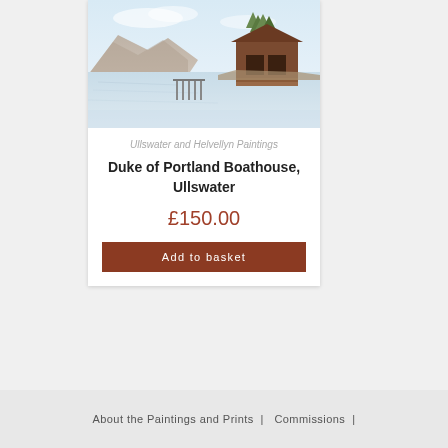[Figure (illustration): Watercolour painting of the Duke of Portland Boathouse on Ullswater lake with mountains in the background and a wooden pier/dock.]
Ullswater and Helvellyn Paintings
Duke of Portland Boathouse, Ullswater
£150.00
Add to basket
About the Paintings and Prints |  Commissions |